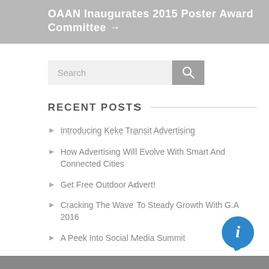OAAN Inaugurates 2015 Poster Award Committee →
[Figure (other): Search input box with search button icon]
RECENT POSTS
Introducing Keke Transit Advertising
How Advertising Will Evolve With Smart And Connected Cities
Get Free Outdoor Advert!
Cracking The Wave To Steady Growth With G.A 2016
A Peek Into Social Media Summit
[Figure (illustration): Blue circular info/chat bubble icon in bottom right corner]